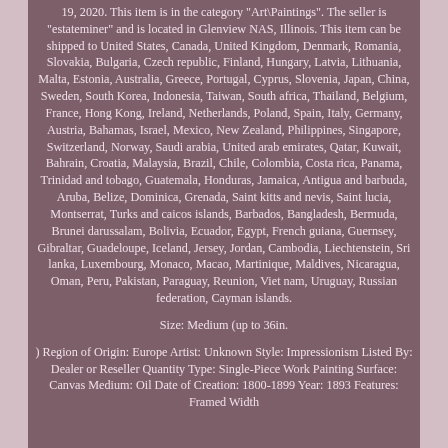19, 2020. This item is in the category "Art\Paintings". The seller is "estateminer" and is located in Glenview NAS, Illinois. This item can be shipped to United States, Canada, United Kingdom, Denmark, Romania, Slovakia, Bulgaria, Czech republic, Finland, Hungary, Latvia, Lithuania, Malta, Estonia, Australia, Greece, Portugal, Cyprus, Slovenia, Japan, China, Sweden, South Korea, Indonesia, Taiwan, South africa, Thailand, Belgium, France, Hong Kong, Ireland, Netherlands, Poland, Spain, Italy, Germany, Austria, Bahamas, Israel, Mexico, New Zealand, Philippines, Singapore, Switzerland, Norway, Saudi arabia, United arab emirates, Qatar, Kuwait, Bahrain, Croatia, Malaysia, Brazil, Chile, Colombia, Costa rica, Panama, Trinidad and tobago, Guatemala, Honduras, Jamaica, Antigua and barbuda, Aruba, Belize, Dominica, Grenada, Saint kitts and nevis, Saint lucia, Montserrat, Turks and caicos islands, Barbados, Bangladesh, Bermuda, Brunei darussalam, Bolivia, Ecuador, Egypt, French guiana, Guernsey, Gibraltar, Guadeloupe, Iceland, Jersey, Jordan, Cambodia, Liechtenstein, Sri lanka, Luxembourg, Monaco, Macao, Martinique, Maldives, Nicaragua, Oman, Peru, Pakistan, Paraguay, Reunion, Viet nam, Uruguay, Russian federation, Cayman islands.
Size: Medium (up to 36in.
) Region of Origin: Europe Artist: Unknown Style: Impressionism Listed By: Dealer or Reseller Quantity Type: Single-Piece Work Painting Surface: Canvas Medium: Oil Date of Creation: 1800-1899 Year: 1893 Features: Framed Width